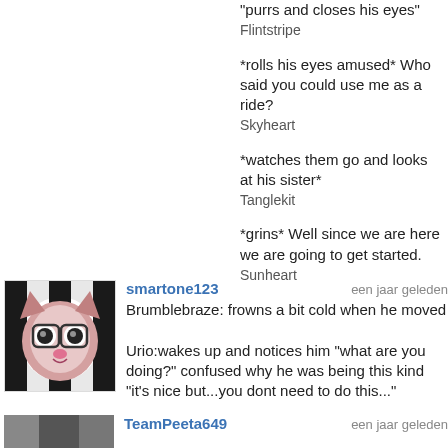"purrs and closes his eyes"
Flintstripe
*rolls his eyes amused* Who said you could use me as a ride?
Skyheart
*watches them go and looks at his sister*
Tanglekit
*grins* Well since we are here we are going to get started.
Sunheart
smartone123 said…
Brumblebraze: frowns a bit cold when he moved

Urio:wakes up and notices him "what are you doing?" confused why he was being this kind "it's nice but...you dont need to do this..."
TeamPeeta649 said…